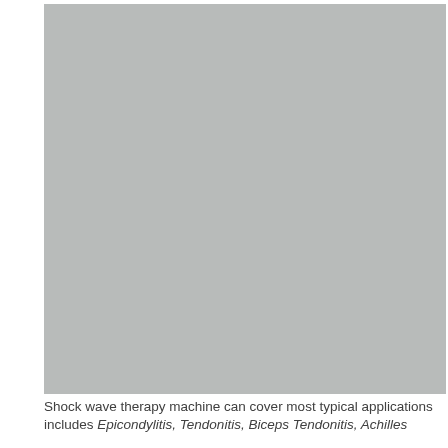[Figure (photo): Large grey placeholder image representing a shock wave therapy machine photo.]
Shock wave therapy machine can cover most typical applications includes Epicondylitis, Tendonitis, Biceps Tendonitis, Achilles